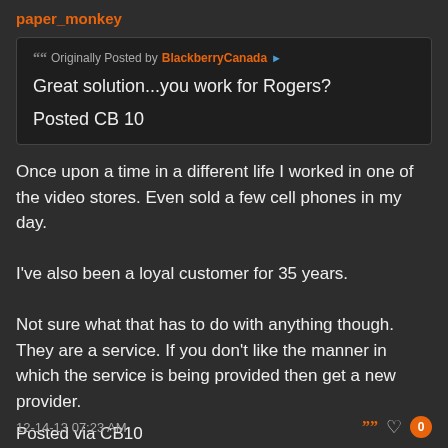paper_monkey
Originally Posted by BlackberryCanada
Great solution...you work for Rogers?
Posted CB 10
Once upon a time in a different life I worked in one of the video stores. Even sold a few cell phones in my day.

I've also been a loyal customer for 35 years.

Not sure what that has to do with anything though. They are a service. If you don't like the manner in which the service is being provided then get a new provider.

Posted via CB10
12-14-13 07:23 AM